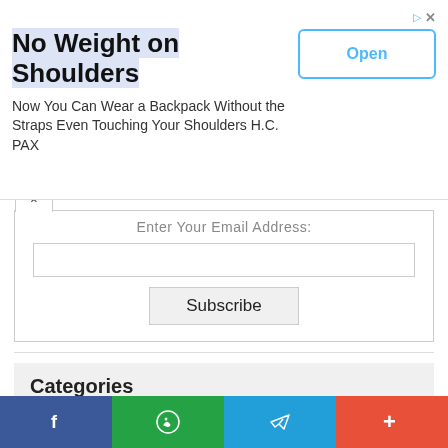[Figure (screenshot): Advertisement banner: 'No Weight on Shoulders' with subtitle 'Now You Can Wear a Backpack Without the Straps Even Touching Your Shoulders H.C. PAX' and an 'Open' button]
Enter Your Email Address:
Subscribe
Categories
10th Pass Govt Jobs
12th Pass Govt Jobs
Admission
Air Force Job
[Figure (infographic): Social share bar with Facebook, WhatsApp, Telegram, and More (+) buttons]